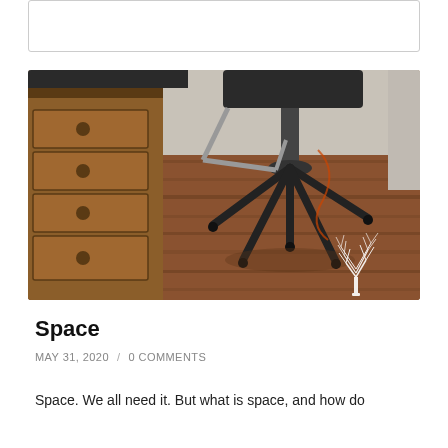[Figure (photo): An office chair with black seat and metal base on a hardwood floor, next to a wooden drawer unit with round knobs. A white tree logo/watermark is visible in the lower right of the photo.]
Space
MAY 31, 2020  /  0 COMMENTS
Space. We all need it. But what is space, and how do